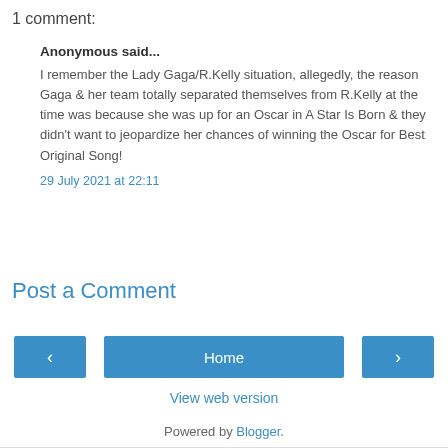1 comment:
Anonymous said...
I remember the Lady Gaga/R.Kelly situation, allegedly, the reason Gaga & her team totally separated themselves from R.Kelly at the time was because she was up for an Oscar in A Star Is Born & they didn't want to jeopardize her chances of winning the Oscar for Best Original Song!
29 July 2021 at 22:11
Post a Comment
Home
View web version
Powered by Blogger.